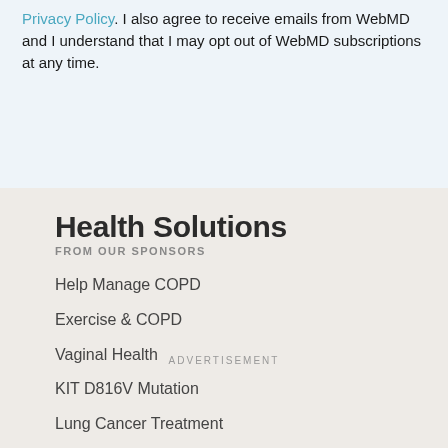Privacy Policy. I also agree to receive emails from WebMD and I understand that I may opt out of WebMD subscriptions at any time.
Health Solutions
FROM OUR SPONSORS
Help Manage COPD
Exercise & COPD
Vaginal Health
KIT D816V Mutation
Lung Cancer Treatment
ADVERTISEMENT